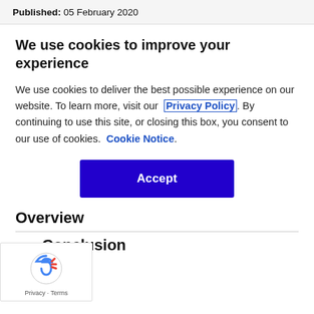Published: 05 February 2020
We use cookies to improve your experience
We use cookies to deliver the best possible experience on our website. To learn more, visit our  Privacy Policy . By continuing to use this site, or closing this box, you consent to our use of cookies.  Cookie Notice .
Accept
Overview
Conclusion